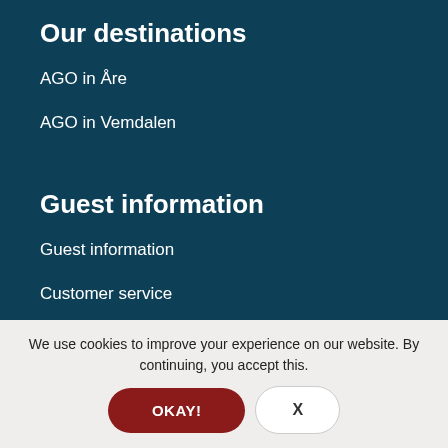Our destinations
AGO in Åre
AGO in Vemdalen
Guest information
Guest information
Customer service
General Terms
We use cookies to improve your experience on our website. By continuing, you accept this.